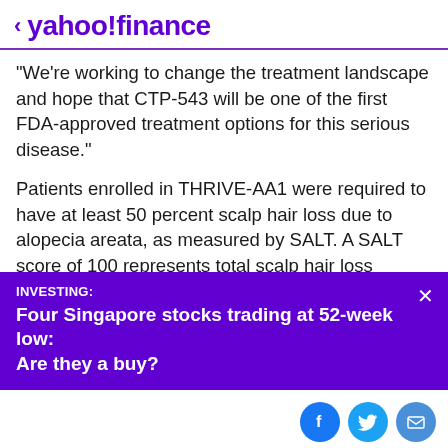< yahoo!finance
"We're working to change the treatment landscape and hope that CTP-543 will be one of the first FDA-approved treatment options for this serious disease."
Patients enrolled in THRIVE-AA1 were required to have at least 50 percent scalp hair loss due to alopecia areata, as measured by SALT. A SALT score of 100 represents total scalp hair loss whereas a score of 0 represents no scalp hair loss. The average baseline SALT score across all patients was approximately 85.9 (corresponding to
INVESTING: Four Singapore stocks trading at 52-week low: Are they a buy?